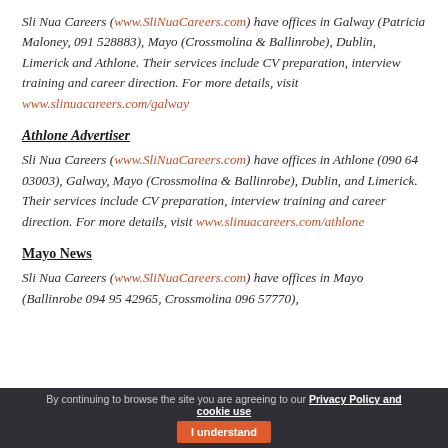Sli Nua Careers (www.SliNuaCareers.com) have offices in Galway (Patricia Maloney, 091 528883), Mayo (Crossmolina & Ballinrobe), Dublin, Limerick and Athlone. Their services include CV preparation, interview training and career direction. For more details, visit www.slinuacareers.com/galway
Athlone Advertiser
Sli Nua Careers (www.SliNuaCareers.com) have offices in Athlone (090 64 03003), Galway, Mayo (Crossmolina & Ballinrobe), Dublin, and Limerick. Their services include CV preparation, interview training and career direction. For more details, visit www.slinuacareers.com/athlone
Mayo News
Sli Nua Careers (www.SliNuaCareers.com) have offices in Mayo (Ballinrobe 094 95 42965, Crossmolina 096 57770),
By continuing to browse the site you are agreeing to our Privacy Policy and cookie use   I understand